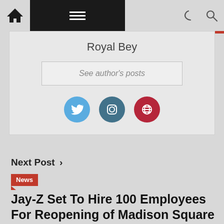[Figure (screenshot): Website navigation bar with home icon, hamburger menu on black background, moon icon and search icon]
Royal Bey
See author's posts
[Figure (illustration): Three social media icons: Twitter (blue circle), Instagram (dark blue circle), Globe/website (red circle)]
Next Post >
News
Jay-Z Set To Hire 100 Employees For Reopening of Madison Square Garden...